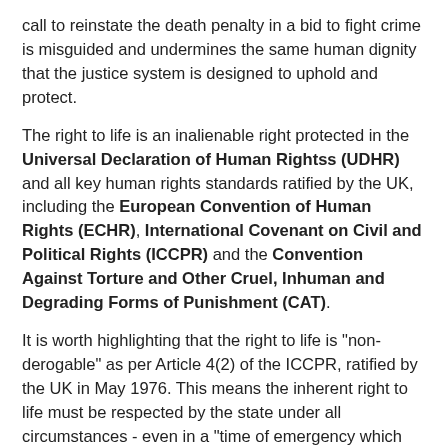call to reinstate the death penalty in a bid to fight crime is misguided and undermines the same human dignity that the justice system is designed to uphold and protect.
The right to life is an inalienable right protected in the Universal Declaration of Human Rightss (UDHR) and all key human rights standards ratified by the UK, including the European Convention of Human Rights (ECHR), International Covenant on Civil and Political Rights (ICCPR) and the Convention Against Torture and Other Cruel, Inhuman and Degrading Forms of Punishment (CAT).
It is worth highlighting that the right to life is "non-derogable" as per Article 4(2) of the ICCPR, ratified by the UK in May 1976. This means the inherent right to life must be respected by the state under all circumstances - even in a "time of emergency which threatens the life of the nation..."
The right to life ranks right up there with other non-derogable rights, including the following.